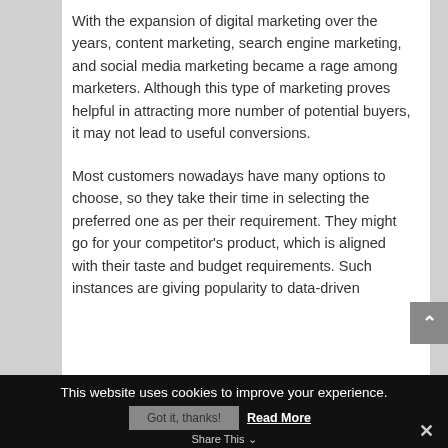With the expansion of digital marketing over the years, content marketing, search engine marketing, and social media marketing became a rage among marketers. Although this type of marketing proves helpful in attracting more number of potential buyers, it may not lead to useful conversions.
Most customers nowadays have many options to choose, so they take their time in selecting the preferred one as per their requirement. They might go for your competitor's product, which is aligned with their taste and budget requirements. Such instances are giving popularity to data-driven
This website uses cookies to improve your experience. Got it, thanks! Read More Share This ✕